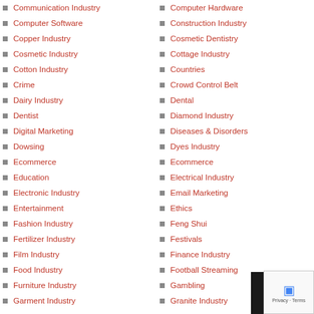Communication Industry
Computer Hardware
Computer Software
Construction Industry
Copper Industry
Cosmetic Dentistry
Cosmetic Industry
Cottage Industry
Cotton Industry
Countries
Crime
Crowd Control Belt
Dairy Industry
Dental
Dentist
Diamond Industry
Digital Marketing
Diseases & Disorders
Dowsing
Dyes Industry
Ecommerce
Ecommerce
Education
Electrical Industry
Electronic Industry
Email Marketing
Entertainment
Ethics
Fashion Industry
Feng Shui
Fertilizer Industry
Festivals
Film Industry
Finance Industry
Food Industry
Football Streaming
Furniture Industry
Gambling
Garment Industry
Granite Industry